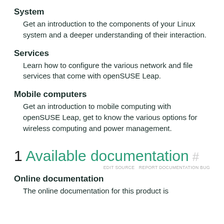System
Get an introduction to the components of your Linux system and a deeper understanding of their interaction.
Services
Learn how to configure the various network and file services that come with openSUSE Leap.
Mobile computers
Get an introduction to mobile computing with openSUSE Leap, get to know the various options for wireless computing and power management.
1 Available documentation #
EDIT SOURCE  REPORT DOCUMENTATION BUG
Online documentation
The online documentation for this product is